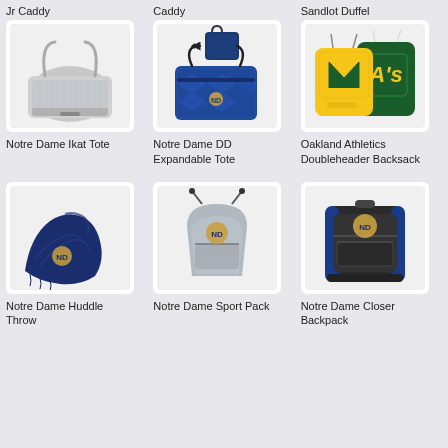Jr Caddy
Caddy
Sandlot Duffel
[Figure (photo): Notre Dame Ikat Tote bag, light gray with geometric pattern]
Notre Dame Ikat Tote
[Figure (photo): Notre Dame DD Expandable Tote, blue geometric pattern bag]
Notre Dame DD Expandable Tote
[Figure (photo): Oakland Athletics Doubleheader Backsack, yellow and green drawstring bags]
Oakland Athletics Doubleheader Backsack
[Figure (photo): Notre Dame Huddle Throw blanket, navy blue fleece]
Notre Dame Huddle Throw
[Figure (photo): Notre Dame Sport Pack drawstring bag, gray with ND logo]
Notre Dame Sport Pack
[Figure (photo): Notre Dame Closer Backpack, black and blue]
Notre Dame Closer Backpack